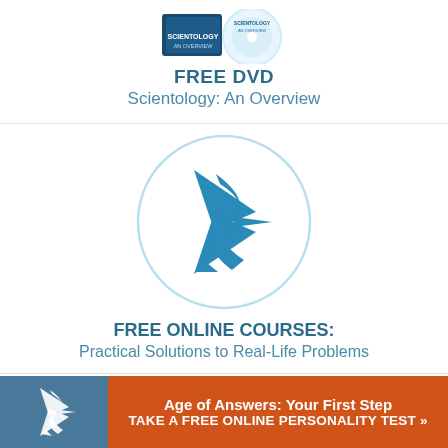[Figure (logo): DVD image for Scientology: An Overview at top of page]
FREE DVD
Scientology: An Overview
[Figure (logo): Scientology S-triangle logo in a light blue circle]
FREE ONLINE COURSES:
Practical Solutions to Real-Life Problems
[Figure (logo): Small Scientology S-triangle logo in dark blue/grey bar at bottom left]
Age of Answers: Your First Step TAKE A FREE ONLINE PERSONALITY TEST »